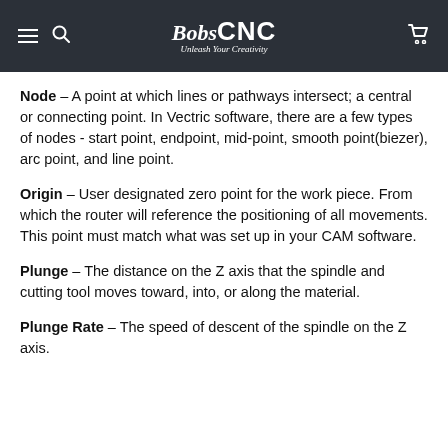BobsCNC — Unleash Your Creativity
Node – A point at which lines or pathways intersect; a central or connecting point. In Vectric software, there are a few types of nodes - start point, endpoint, mid-point, smooth point(biezer), arc point, and line point.
Origin – User designated zero point for the work piece. From which the router will reference the positioning of all movements. This point must match what was set up in your CAM software.
Plunge – The distance on the Z axis that the spindle and cutting tool moves toward, into, or along the material.
Plunge Rate – The speed of descent of the spindle on the Z axis.